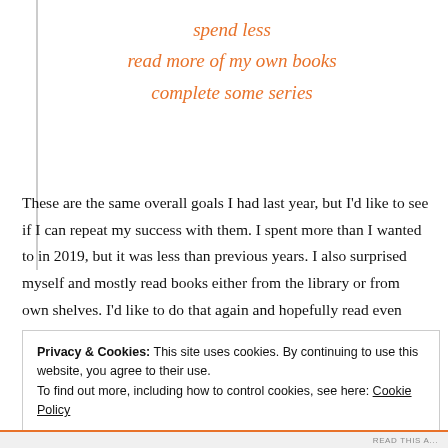spend less
read more of my own books
complete some series
These are the same overall goals I had last year, but I'd like to see if I can repeat my success with them. I spent more than I wanted to in 2019, but it was less than previous years. I also surprised myself and mostly read books either from the library or from own shelves. I'd like to do that again and hopefully read even more books from my shelves. Also,
Privacy & Cookies: This site uses cookies. By continuing to use this website, you agree to their use.
To find out more, including how to control cookies, see here: Cookie Policy
Close and accept